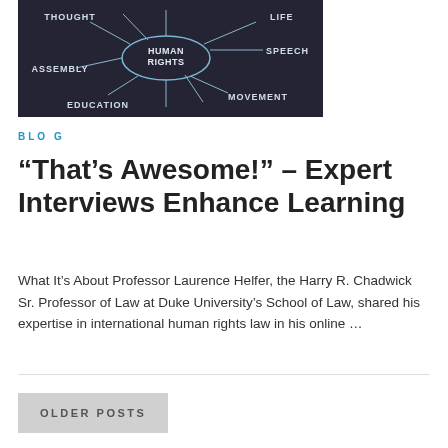[Figure (illustration): Chalkboard-style mind map with 'Human Rights' in an oval at center, connected by arrows to surrounding words: Thought, Life, Assembly, Speech, Education, Movement.]
BLOG
“That’s Awesome!” – Expert Interviews Enhance Learning
What It’s About Professor Laurence Helfer, the Harry R. Chadwick Sr. Professor of Law at Duke University’s School of Law, shared his expertise in international human rights law in his online …
OLDER POSTS